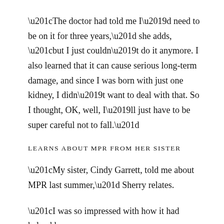“The doctor had told me I’d need to be on it for three years,” she adds, “but I just couldn’t do it anymore. I also learned that it can cause serious long-term damage, and since I was born with just one kidney, I didn’t want to deal with that. So I thought, OK, well, I’ll just have to be super careful not to fall.”
LEARNS ABOUT MPR FROM HER SISTER
“My sister, Cindy Garrett, told me about MPR last summer,” Sherry relates.
“I was so impressed with how it had helped her